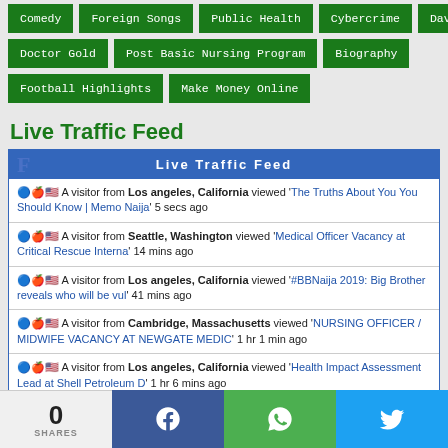Comedy | Foreign Songs | Public Health | Cybercrime | Davido
Doctor Gold | Post Basic Nursing Program | Biography
Football Highlights | Make Money Online
Live Traffic Feed
A visitor from Los angeles, California viewed 'The Truths About You You Should Know | Memo Naija' 5 secs ago
A visitor from Seattle, Washington viewed 'Medical Officer Vacancy at Critical Rescue Interna' 14 mins ago
A visitor from Los angeles, California viewed '#BBNaija 2019: Big Brother reveals who will be vul' 41 mins ago
A visitor from Cambridge, Massachusetts viewed 'NURSING OFFICER / MIDWIFE VACANCY AT NEWGATE MEDIC' 1 hr 1 min ago
A visitor from Los angeles, California viewed 'Health Impact Assessment Lead at Shell Petroleum D' 1 hr 6 mins ago
A visitor from Los angeles, California viewed 'Osinbajo Dismisses Rumored Rift With Buhari Assure' 1 hr 20 mins ago
A visitor from Ashburn, Virginia viewed '(Photos) Dasuki Chills W His Family After Relea' 1 hr 51 mins ago
0 SHARES | Facebook | WhatsApp | Twitter